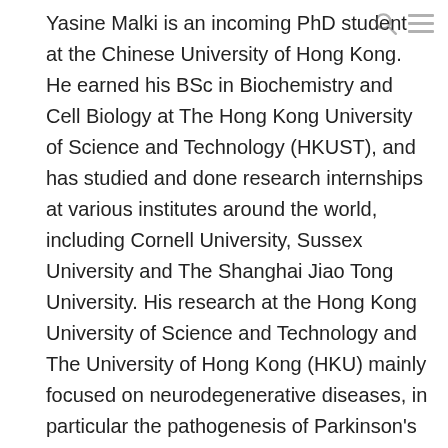Yasine Malki is an incoming PhD student at the Chinese University of Hong Kong. He earned his BSc in Biochemistry and Cell Biology at The Hong Kong University of Science and Technology (HKUST), and has studied and done research internships at various institutes around the world, including Cornell University, Sussex University and The Shanghai Jiao Tong University. His research at the Hong Kong University of Science and Technology and The University of Hong Kong (HKU) mainly focused on neurodegenerative diseases, in particular the pathogenesis of Parkinson's Disease, where he studied mitochondrial and signaling impairments in familial Parkinson's Disease, as well as translational approaches to Parkinson's Disease treatment. He has previously been awarded the HKUST Academic Achievement Medal, the Fung Scholarship, and was a two time awardee of both the DH Chen Foundation Life Science Scholarship and the HKUST Academic Excellence Award.